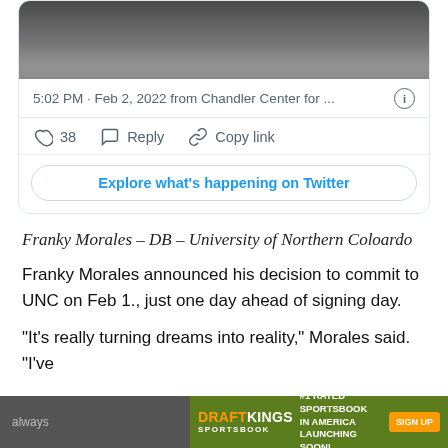[Figure (screenshot): Cropped screenshot of a Twitter/X post showing top portion of a person's photo]
5:02 PM · Feb 2, 2022 from Chandler Center for ... ⓘ
♡ 38   Reply   Copy link
Explore what's happening on Twitter
Franky Morales – DB – University of Northern Coloardo
Franky Morales announced his decision to commit to UNC on Feb 1., just one day ahead of signing day.
“It’s really turning dreams into reality,” Morales said. “I’ve
always
[Figure (screenshot): DraftKings Sportsbook advertisement banner: #1 Rated Sportsbook in America Launching Soon! Sign Up]